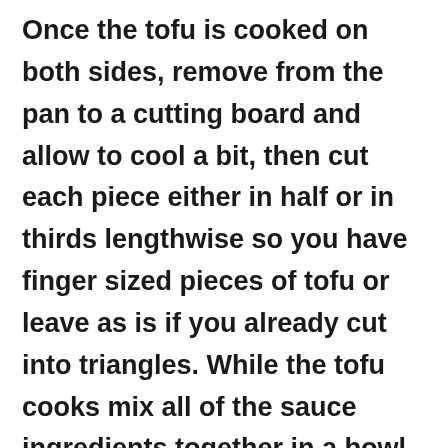Once the tofu is cooked on both sides, remove from the pan to a cutting board and allow to cool a bit, then cut each piece either in half or in thirds lengthwise so you have finger sized pieces of tofu or leave as is if you already cut into triangles.

While the tofu cooks mix all of the sauce ingredients together in a bowl, starting with the juice of 1 lime, adding more if needed,